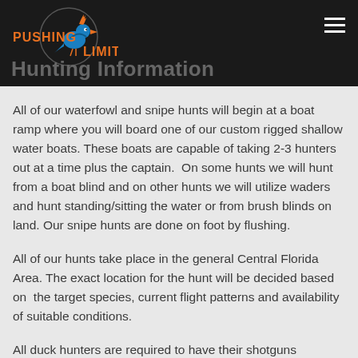Hunting Information
All of our waterfowl and snipe hunts will begin at a boat ramp where you will board one of our custom rigged shallow water boats. These boats are capable of taking 2-3 hunters out at a time plus the captain. On some hunts we will hunt from a boat blind and on other hunts we will utilize waders and hunt standing/sitting the water or from brush blinds on land. Our snipe hunts are done on foot by flushing.
All of our hunts take place in the general Central Florida Area. The exact location for the hunt will be decided based on the target species, current flight patterns and availability of suitable conditions.
All duck hunters are required to have their shotguns